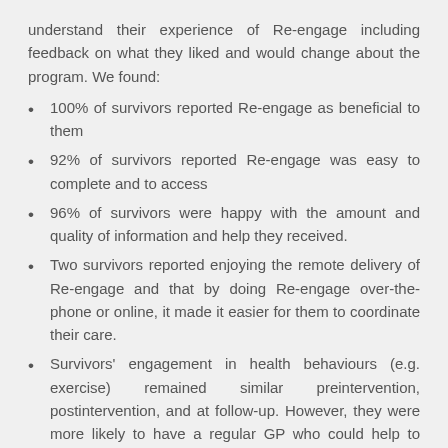understand their experience of Re-engage including feedback on what they liked and would change about the program. We found:
100% of survivors reported Re-engage as beneficial to them
92% of survivors reported Re-engage was easy to complete and to access
96% of survivors were happy with the amount and quality of information and help they received.
Two survivors reported enjoying the remote delivery of Re-engage and that by doing Re-engage over-the-phone or online, it made it easier for them to coordinate their care.
Survivors' engagement in health behaviours (e.g. exercise) remained similar preintervention, postintervention, and at follow-up. However, they were more likely to have a regular GP who could help to encourage healthy behaviours beyond the program.